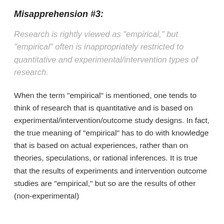Misapprehension #3:
Research is rightly viewed as “empirical,” but “empirical” often is inappropriately restricted to quantitative and experimental/intervention types of research.
When the term “empirical” is mentioned, one tends to think of research that is quantitative and is based on experimental/intervention/outcome study designs. In fact, the true meaning of “empirical” has to do with knowledge that is based on actual experiences, rather than on theories, speculations, or rational inferences. It is true that the results of experiments and intervention outcome studies are “empirical,” but so are the results of other (non-experimental)